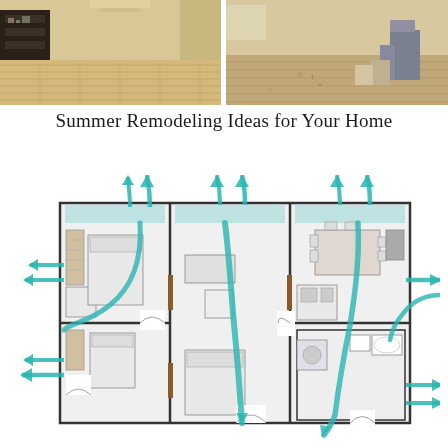[Figure (photo): Two-panel photo strip showing a home before and after remodeling. Left panel shows a finished living room with light wood flooring and dark shelving unit. Right panel shows the same or similar room under construction with bare concrete floor and building materials.]
Summer Remodeling Ideas for Your Home
[Figure (engineering-diagram): Floor plan of a multi-room apartment/house with teal/turquoise arrows showing airflow patterns throughout the rooms. Arrows enter and exit through windows and flow through the rooms indicating cross-ventilation design for home remodeling.]